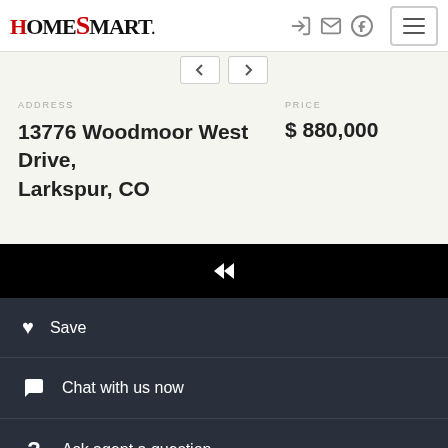[Figure (logo): HomeSmart real estate logo in red and black]
ADDRESS
13776 Woodmoor West Drive, Larkspur, CO
PRICE
$ 880,000
Save
Chat with us now
Ask agent a question